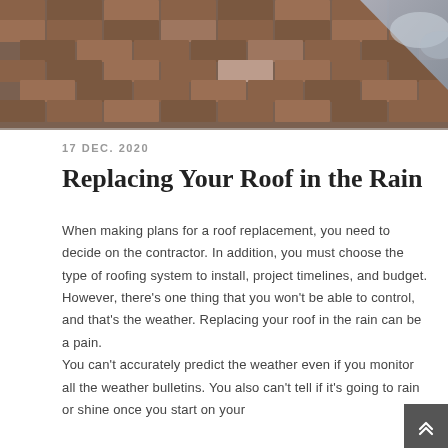[Figure (photo): Close-up photo of brown asphalt shingles on a roof, with a partial view of cloudy/stormy sky in the upper right corner.]
17 DEC. 2020
Replacing Your Roof in the Rain
When making plans for a roof replacement, you need to decide on the contractor. In addition, you must choose the type of roofing system to install, project timelines, and budget. However, there's one thing that you won't be able to control, and that's the weather. Replacing your roof in the rain can be a pain.
You can't accurately predict the weather even if you monitor all the weather bulletins. You also can't tell if it's going to rain or shine once you start on your